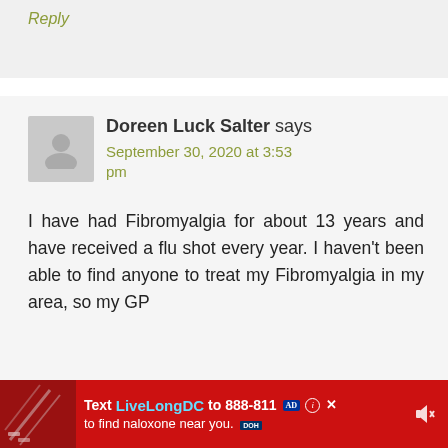Reply
Doreen Luck Salter says
September 30, 2020 at 3:53 pm
I have had Fibromyalgia for about 13 years and have received a flu shot every year. I haven't been able to find anyone to treat my Fibromyalgia in my area, so my GP
[Figure (infographic): Red advertisement bar at the bottom: 'Text LiveLongDC to 888-811 to find naloxone near you.' with DOH badge and close button]